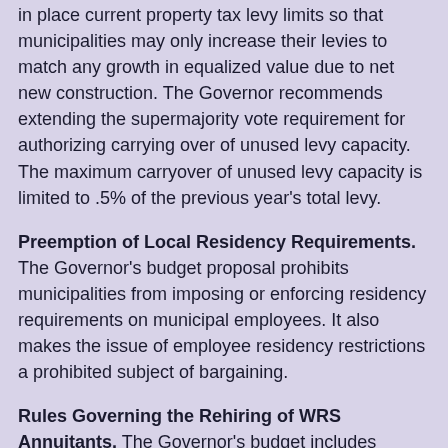in place current property tax levy limits so that municipalities may only increase their levies to match any growth in equalized value due to net new construction. The Governor recommends extending the supermajority vote requirement for authorizing carrying over of unused levy capacity. The maximum carryover of unused levy capacity is limited to .5% of the previous year's total levy.
Preemption of Local Residency Requirements. The Governor's budget proposal prohibits municipalities from imposing or enforcing residency requirements on municipal employees. It also makes the issue of employee residency restrictions a prohibited subject of bargaining.
Rules Governing the Rehiring of WRS Annuitants. The Governor's budget includes language addressing municipal hiring of WRS annuitants by increasing the break in service requirement from 30 to 75 days and requiring